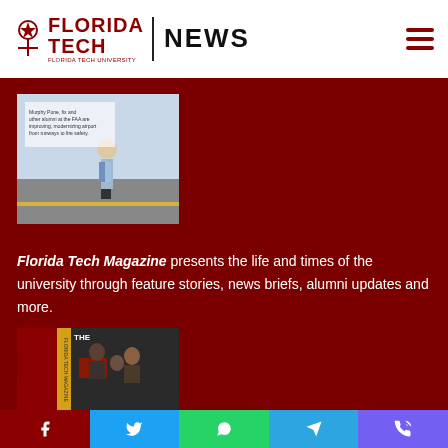FLORIDA TECH | NEWS
[Figure (photo): Florida Tech magazine cover showing a person standing on a road, top image]
Florida Tech Magazine presents the life and times of the university through feature stories, news briefs, alumni updates and more.
[Figure (photo): Florida Tech magazine cover showing students at computers, 'The Result' magazine, bottom image]
Social sharing buttons: Facebook, Twitter, WhatsApp, Telegram, Viber